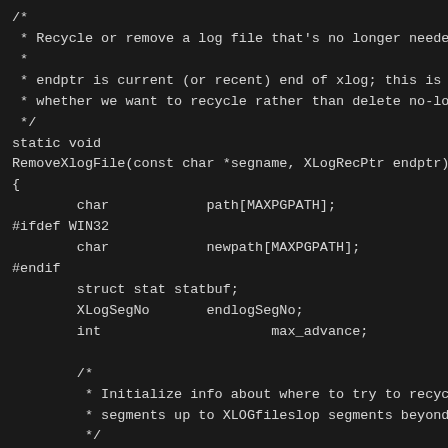[Figure (screenshot): Source code screenshot showing a C function comment block and function signature for RemoveXlogFile, with variable declarations and an inner comment block, all on a dark background.]